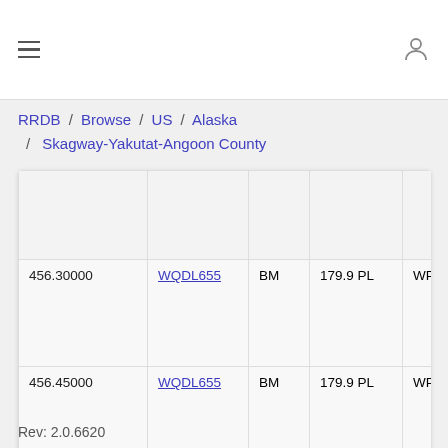≡   (user icon)
RRDB / Browse / US / Alaska / Skagway-Yakutat-Angoon County
|  |  |  |  |  |  |
| --- | --- | --- | --- | --- | --- |
|  |  |  |  |  |  |
| 456.30000 | WQDL655 | BM | 179.9 PL | WP-Yukon Rail 4 |  |
| 456.45000 | WQDL655 | BM | 179.9 PL | WP-Yukon Rail 5 |  |
Rev: 2.0.6620